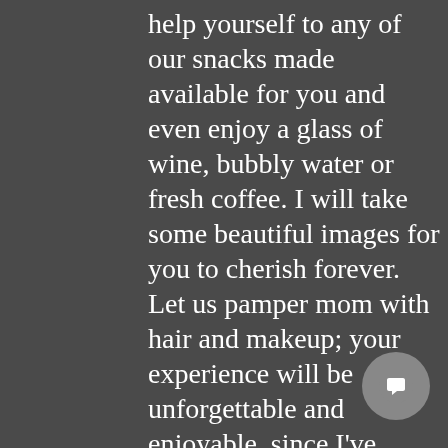help yourself to any of our snacks made available for you and even enjoy a glass of wine, bubbly water or fresh coffee. I will take some beautiful images for you to cherish forever. Let us pamper mom with hair and makeup; your experience will be unforgettable and enjoyable, since I've thought through every detail for you.

Are you expecting? Let me capture the beauty of your maternity. Have you scheduled your newborn baby photo session? Let me help you customize the perfect session for your new bundle of joy. To learn more about your experience, click here.